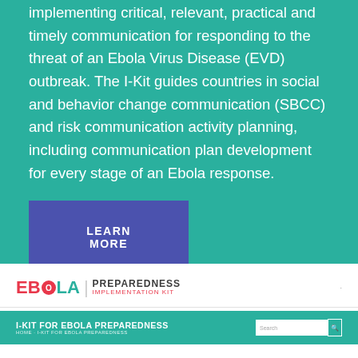implementing critical, relevant, practical and timely communication for responding to the threat of an Ebola Virus Disease (EVD) outbreak. The I-Kit guides countries in social and behavior change communication (SBCC) and risk communication activity planning, including communication plan development for every stage of an Ebola response.
LEARN MORE
[Figure (screenshot): Ebola Preparedness Implementation Kit website logo and navigation bar showing the I-Kit for Ebola Preparedness header with a search box]
I-KIT FOR EBOLA PREPAREDNESS